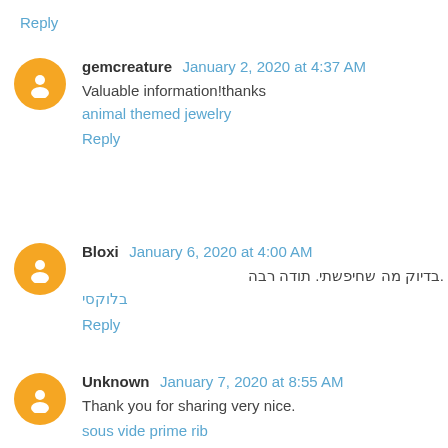Reply
gemcreature  January 2, 2020 at 4:37 AM
Valuable information!thanks
animal themed jewelry
Reply
Bloxi  January 6, 2020 at 4:00 AM
.בדיוק מה שחיפשתי. תודה רבה
בלוקסי
Reply
Unknown  January 7, 2020 at 8:55 AM
Thank you for sharing very nice.
sous vide prime rib
Reply